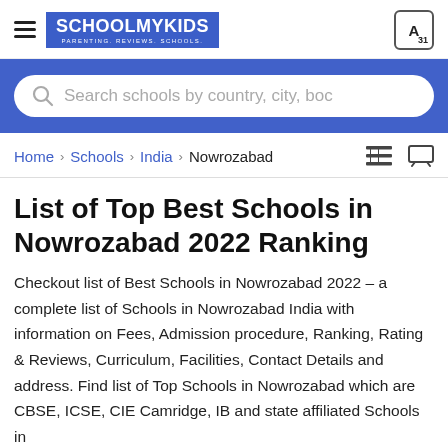SCHOOLMYKIDS — PARENTING. REVIEWS. SCHOOLS.
[Figure (screenshot): Search bar with placeholder text 'Search schools by country, city, boc' on a blue banner background]
Home › Schools › India › Nowrozabad
List of Top Best Schools in Nowrozabad 2022 Ranking
Checkout list of Best Schools in Nowrozabad 2022 – a complete list of Schools in Nowrozabad India with information on Fees, Admission procedure, Ranking, Rating & Reviews, Curriculum, Facilities, Contact Details and address. Find list of Top Schools in Nowrozabad which are CBSE, ICSE, CIE Camridge, IB and state affiliated Schools in Nowrozabad India. The list also shows the name and